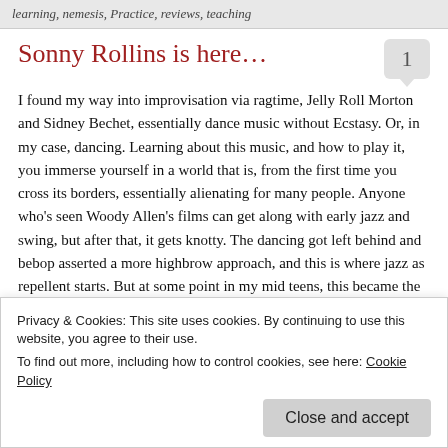learning, nemesis, Practice, reviews, teaching
Sonny Rollins is here…
I found my way into improvisation via ragtime, Jelly Roll Morton and Sidney Bechet, essentially dance music without Ecstasy. Or, in my case, dancing. Learning about this music, and how to play it, you immerse yourself in a world that is, from the first time you cross its borders, essentially alienating for many people. Anyone who's seen Woody Allen's films can get along with early jazz and swing, but after that, it gets knotty. The dancing got left behind and bebop asserted a more highbrow approach, and this is where jazz as repellent starts. But at some point in my mid teens, this became the sound I had in
Privacy & Cookies: This site uses cookies. By continuing to use this website, you agree to their use.
To find out more, including how to control cookies, see here: Cookie Policy